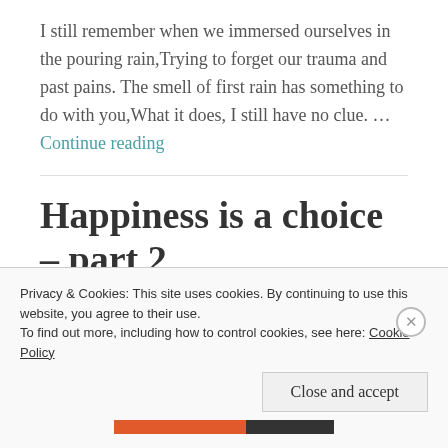I still remember when we immersed ourselves in the pouring rain,Trying to forget our trauma and past pains. The smell of first rain has something to do with you,What it does, I still have no clue. … Continue reading
Happiness is a choice – part 2
Privacy & Cookies: This site uses cookies. By continuing to use this website, you agree to their use. To find out more, including how to control cookies, see here: Cookie Policy
Close and accept